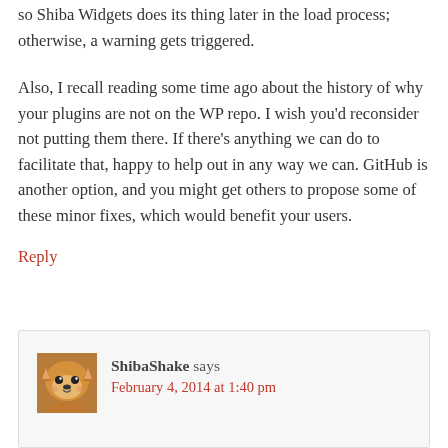so Shiba Widgets does its thing later in the load process; otherwise, a warning gets triggered.
Also, I recall reading some time ago about the history of why your plugins are not on the WP repo. I wish you'd reconsider not putting them there. If there's anything we can do to facilitate that, happy to help out in any way we can. GitHub is another option, and you might get others to propose some of these minor fixes, which would benefit your users.
Reply
[Figure (photo): Avatar image of a Shiba Inu dog]
ShibaShake says
February 4, 2014 at 1:40 pm